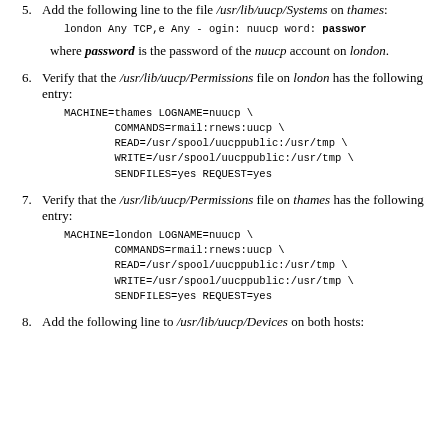5. Add the following line to the file /usr/lib/uucp/Systems on thames:
london Any TCP,e Any - ogin: nuucp word: password
where password is the password of the nuucp account on london.
6. Verify that the /usr/lib/uucp/Permissions file on london has the following entry:
MACHINE=thames LOGNAME=nuucp \
        COMMANDS=rmail:rnews:uucp \
        READ=/usr/spool/uucppublic:/usr/tmp \
        WRITE=/usr/spool/uucppublic:/usr/tmp \
        SENDFILES=yes REQUEST=yes
7. Verify that the /usr/lib/uucp/Permissions file on thames has the following entry:
MACHINE=london LOGNAME=nuucp \
        COMMANDS=rmail:rnews:uucp \
        READ=/usr/spool/uucppublic:/usr/tmp \
        WRITE=/usr/spool/uucppublic:/usr/tmp \
        SENDFILES=yes REQUEST=yes
8. Add the following line to /usr/lib/uucp/Devices on both hosts: